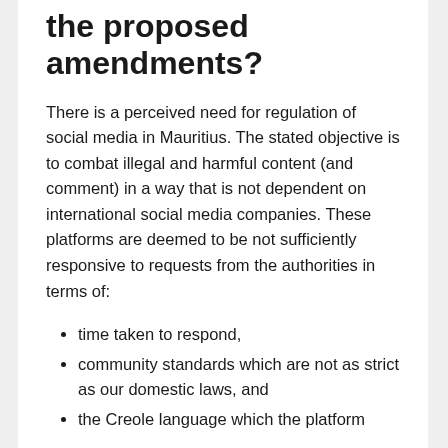the proposed amendments?
There is a perceived need for regulation of social media in Mauritius. The stated objective is to combat illegal and harmful content (and comment) in a way that is not dependent on international social media companies. These platforms are deemed to be not sufficiently responsive to requests from the authorities in terms of:
time taken to respond,
community standards which are not as strict as our domestic laws, and
the Creole language which the platform